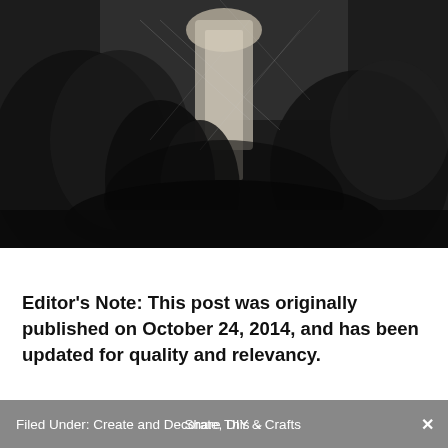[Figure (photo): Black and white photograph of a ghostly figure draped in white fabric surrounded by dark feathery or fern-like plants and spider webs, Halloween-themed scene]
Editor's Note: This post was originally published on October 24, 2014, and has been updated for quality and relevancy.
Filed Under: Create and Decorate, DIY & Crafts   Share This ⌄   ✕